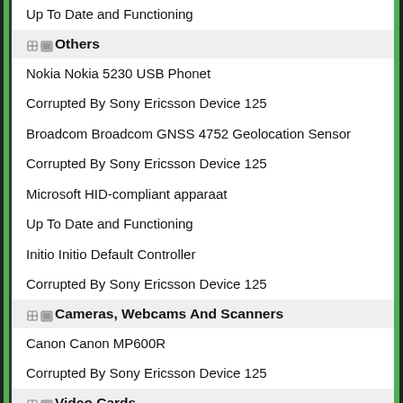Up To Date and Functioning
Others
Nokia Nokia 5230 USB Phonet
Corrupted By Sony Ericsson Device 125
Broadcom Broadcom GNSS 4752 Geolocation Sensor
Corrupted By Sony Ericsson Device 125
Microsoft HID-compliant apparaat
Up To Date and Functioning
Initio Initio Default Controller
Corrupted By Sony Ericsson Device 125
Cameras, Webcams And Scanners
Canon Canon MP600R
Corrupted By Sony Ericsson Device 125
Video Cards
Intel(R) HD Graphics 4000